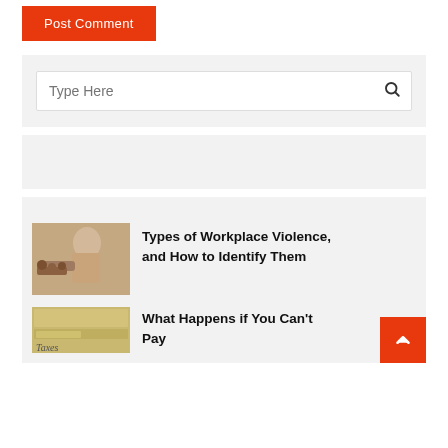[Figure (screenshot): Orange 'Post Comment' button]
[Figure (screenshot): Search bar with 'Type Here' placeholder text and search icon]
[Figure (screenshot): Gray banner/ad placeholder box]
[Figure (photo): Photo showing workplace violence scene - person grabbing another person's wrist from behind]
Types of Workplace Violence, and How to Identify Them
[Figure (photo): Photo of file folders with 'Taxes' label visible]
What Happens if You Can't Pay